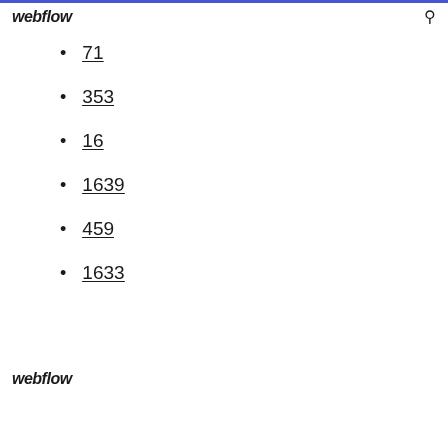webflow
71
353
16
1639
459
1633
webflow